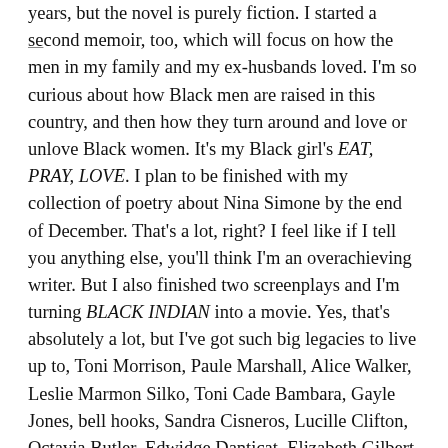years, but the novel is purely fiction. I started a second memoir, too, which will focus on how the men in my family and my ex-husbands loved. I'm so curious about how Black men are raised in this country, and then how they turn around and love or unlove Black women. It's my Black girl's EAT, PRAY, LOVE. I plan to be finished with my collection of poetry about Nina Simone by the end of December. That's a lot, right? I feel like if I tell you anything else, you'll think I'm an overachieving writer. But I also finished two screenplays and I'm turning BLACK INDIAN into a movie. Yes, that's absolutely a lot, but I've got such big legacies to live up to, Toni Morrison, Paule Marshall, Alice Walker, Leslie Marmon Silko, Toni Cade Bambara, Gayle Jones, bell hooks, Sandra Cisneros, Lucille Clifton, Octavia Butler, Edwidge Danticat, Elizabeth Gilbert and Joy Harjo. There are so many beautiful, hard-working, genius women writers whom I covet and adore. I am lucky and